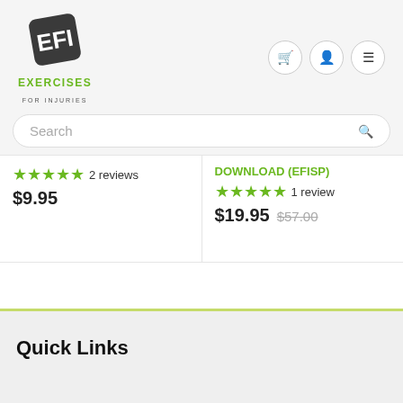[Figure (logo): Exercises For Injuries logo with angular EFI graphic and green/dark text]
Search
★★★★★ 2 reviews
$9.95
DOWNLOAD (EFISP)
★★★★★ 1 review
$19.95  $57.00
Quick Links